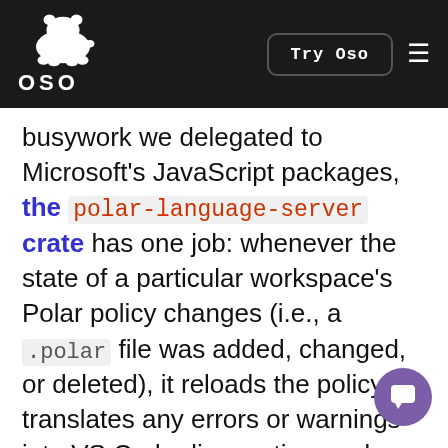OSO — Try Oso
busywork we delegated to Microsoft's JavaScript packages, the polar-language-server crate has one job: whenever the state of a particular workspace's Polar policy changes (i.e., a .polar file was added, changed, or deleted), it reloads the policy, translates any errors or warnings into VS Code diagnostics, and punts those diagnostics back across the fence to VS Code, which then